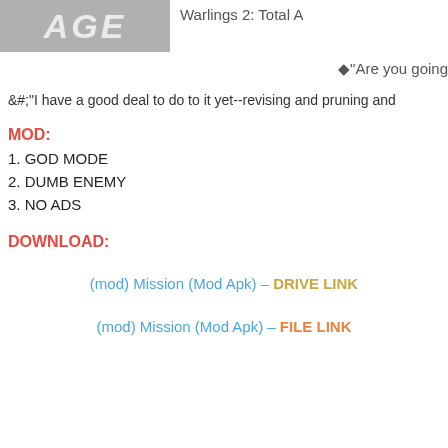[Figure (screenshot): Game banner image with text AGE on grey background]
Warlings 2: Total A
◆"Are you going
&#;"I have a good deal to do to it yet--revising and pruning and
MOD:
1. GOD MODE
2. DUMB ENEMY
3. NO ADS
DOWNLOAD:
(mod) Mission (Mod Apk) – DRIVE LINK
(mod) Mission (Mod Apk) – FILE LINK